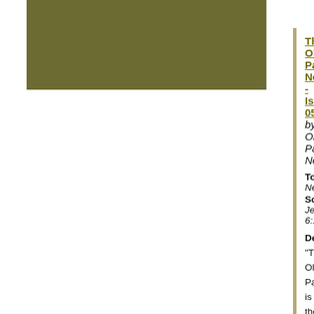[Figure (other): Olive/dark-green rectangular box in upper left area]
The Old Paths Newsletter - Issue 05 by Old Paths Ne…
Topic: Newsletter
Scripture(s): Jeremiah 6:16
Description: "The Old Paths" is the new official month… issue each month that will be offered through the email … signup for the monthly newsletter on the front page of th… format. All the backissues will be linked to in this threa… the newsletter can make copies for other friends. I see th… copies to hand out to friends or leave at churches. May … the furterance of the gospel and His kingdom.
Sermo…
The Old Paths Newsletter - Issue 06 by Old Paths Ne…
Topic: Newsletter
Scripture(s): Jeremiah 6:16
Description: "The Old Paths" is the new official month… issue each month that will be offered through the email … signup for the monthly newsletter on the front page of th… format. All the backissues will be linked to in this threa… the newsletter can make copies for other friends. I see th… copies to hand out to friends or leave at churches. May …